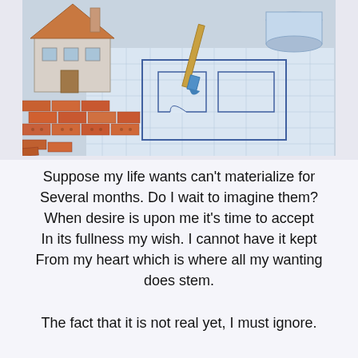[Figure (photo): Photo of a construction scene: brick piles and small house model on architectural blueprints, with a paint brush visible, suggesting home building or renovation planning.]
Suppose my life wants can't materialize for Several months. Do I wait to imagine them? When desire is upon me it's time to accept In its fullness my wish. I cannot have it kept From my heart which is where all my wanting does stem.
The fact that it is not real yet, I must ignore.
Three-dimensional knowing is through the senses
That can only know realness by what they